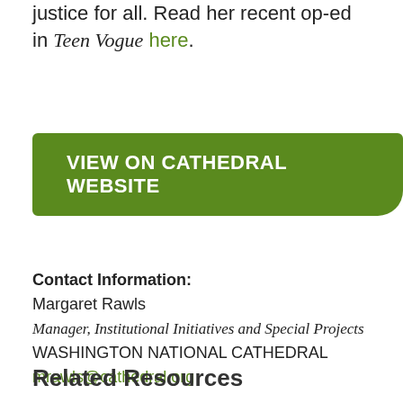justice for all. Read her recent op-ed in Teen Vogue here.
[Figure (other): Green button with white text reading VIEW ON CATHEDRAL WEBSITE]
Contact Information:
Margaret Rawls
Manager, Institutional Initiatives and Special Projects
WASHINGTON NATIONAL CATHEDRAL
mrawls@cathedral.org
Related Resources